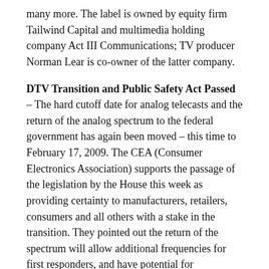many more. The label is owned by equity firm Tailwind Capital and multimedia holding company Act III Communications; TV producer Norman Lear is co-owner of the latter company.
DTV Transition and Public Safety Act Passed – The hard cutoff date for analog telecasts and the return of the analog spectrum to the federal government has again been moved – this time to February 17, 2009. The CEA (Consumer Electronics Association) supports the passage of the legislation by the House this week as providing certainty to manufacturers, retailers, consumers and all others with a stake in the transition. They pointed out the return of the spectrum will allow additional frequencies for first responders, and have potential for developing fast obliquitous wireless broadband connectivity. The bill still requires a vote in the Senate and then signature by President Bush. The CEA promised to continue its